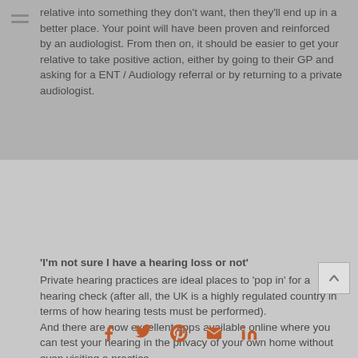relative into something they don't want, then they'll end up in a better place. Your point will have been proven and reinforced by an audiologist. From then on, it should be easier to get your relative to take positive action, either by going to their GP and asking for a ENT / Audiology referral or by returning to a private audiologist.
'I'm not sure I have a hearing loss or not'
Private hearing practices are ideal places to 'pop in' for a hearing check (after all, the UK is a highly regulated country in terms of how hearing tests must be performed).
And there are now excellent apps available online where you can test your hearing in the privacy of your own home without even visiting a practice...